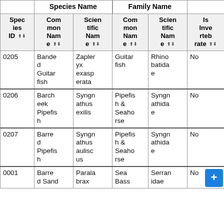| Species ID | Common Name (Species) | Scientific Name (Species) | Common Name (Family) | Scientific Name (Family) | Is Invertebrate |
| --- | --- | --- | --- | --- | --- |
| 0205 | Banded Guitarfish | Zapteryx exasperata | Guitarfish | Rhinobatidae | No |
| 0206 | Barcheek Pipefish | Syngnathus exilis | Pipefish & Seahorse | Syngnathidae | No |
| 0207 | Barred Pipefish | Syngnathus auliscus | Pipefish & Seahorse | Syngnathidae | No |
| 0001 | Barred Sand... | Paralabrax | Sea Bass | Serranidae | No |